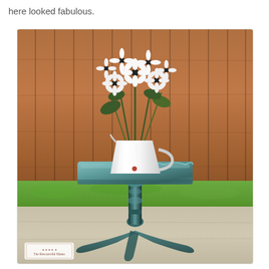here looked fabulous.
[Figure (photo): A teal/blue-green painted antique pedestal tilt-top table with a scalloped square top, turned pedestal, and tripod legs, displayed outdoors on a concrete surface. A white ceramic pitcher vase with white daisy flowers sits on top of the table. Background shows a wooden fence and a strip of green grass. A small logo/watermark is visible in the lower-left corner of the photo.]